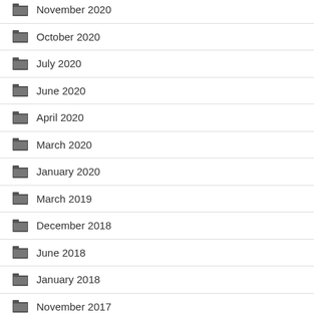November 2020
October 2020
July 2020
June 2020
April 2020
March 2020
January 2020
March 2019
December 2018
June 2018
January 2018
November 2017
March 2017